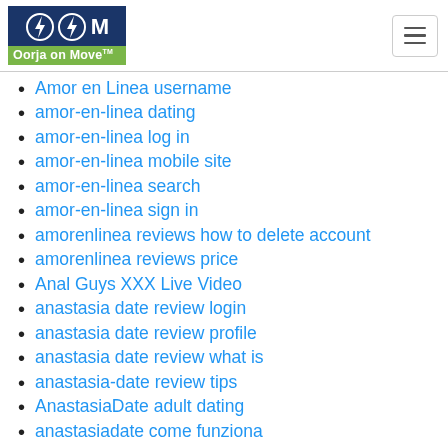[Figure (logo): Oorja on Move logo with lightning bolt icons on dark blue background and green text bar]
Amor en Linea username
amor-en-linea dating
amor-en-linea log in
amor-en-linea mobile site
amor-en-linea search
amor-en-linea sign in
amorenlinea reviews how to delete account
amorenlinea reviews price
Anal Guys XXX Live Video
anastasia date review login
anastasia date review profile
anastasia date review what is
anastasia-date review tips
AnastasiaDate adult dating
anastasiadate come funziona
Anastasiadate reviews